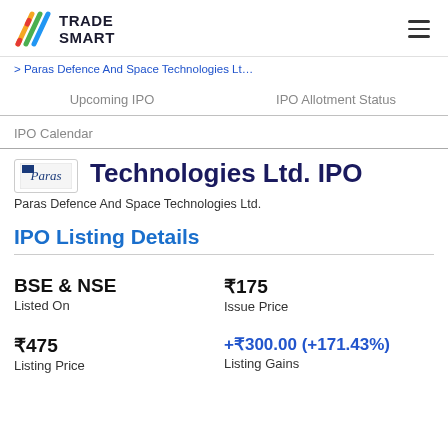TRADE SMART
> Paras Defence And Space Technologies Lt...
Upcoming IPO | IPO Allotment Status
IPO Calendar
Technologies Ltd. IPO
Paras Defence And Space Technologies Ltd.
IPO Listing Details
| Field | Value |
| --- | --- |
| BSE & NSE | ₹175 |
| Listed On | Issue Price |
| ₹475 | +₹300.00 (+171.43%) |
| Listing Price | Listing Gains |